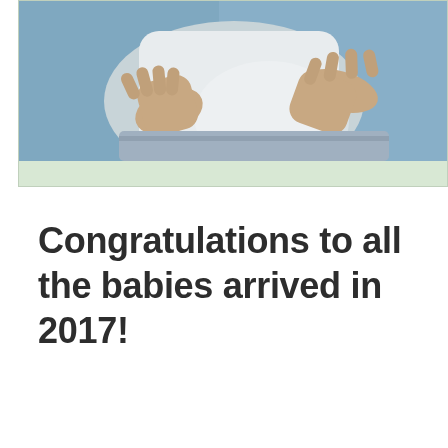[Figure (photo): Photograph of a pregnant woman holding her belly, wearing a light blue top, against a blue background. The image is cropped to show the torso and hands.]
Congratulations to all the babies arrived in 2017!